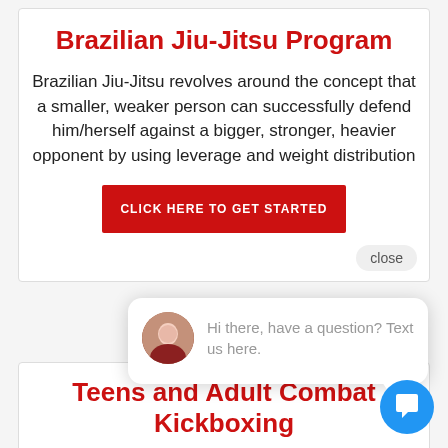Brazilian Jiu-Jitsu Program
Brazilian Jiu-Jitsu revolves around the concept that a smaller, weaker person can successfully defend him/herself against a bigger, stronger, heavier opponent by using leverage and weight distribution
CLICK HERE TO GET STARTED
close
Hi there, have a question? Text us here.
Teens and Adult Combat Kickboxing
Strengthen your mind, body, and spirit through